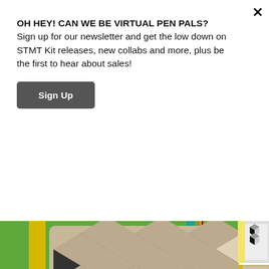OH HEY! CAN WE BE VIRTUAL PEN PALS? Sign up for our newsletter and get the low down on STMT Kit releases, new collabs and more, plus be the first to hear about sales!
Sign Up
[Figure (photo): Close-up photo of a notebook with a geometric cube/diamond optical illusion pattern in black, white, and tan/beige, sitting on a green folder with yellow binding spine. A striped pencil and teal ruler are visible in the background.]
[Figure (photo): Thumbnail: notebook with black, white, yellow pattern tile]
[Figure (photo): Thumbnail: plain tan/beige notebook with yellow spine]
[Figure (photo): Thumbnail: notebook with black geometric pattern and red spine]
[Figure (photo): Thumbnail: notebook with geometric pattern and blue accent]
[Figure (photo): Thumbnail: notebook with geometric pattern and yellow spine, partial view]